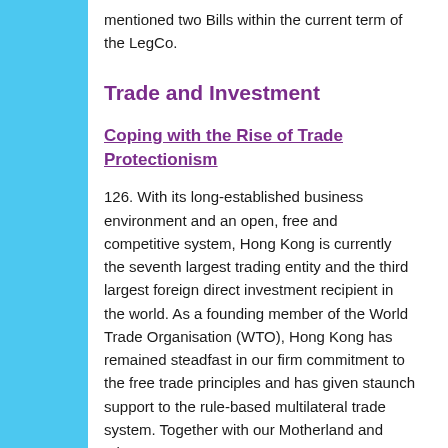mentioned two Bills within the current term of the LegCo.
Trade and Investment
Coping with the Rise of Trade Protectionism
126. With its long-established business environment and an open, free and competitive system, Hong Kong is currently the seventh largest trading entity and the third largest foreign direct investment recipient in the world. As a founding member of the World Trade Organisation (WTO), Hong Kong has remained steadfast in our firm commitment to the free trade principles and has given staunch support to the rule-based multilateral trade system. Together with our Motherland and other